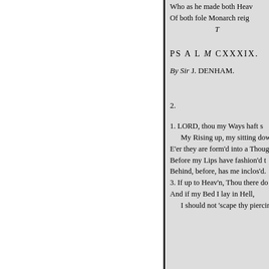Who as he made both Heav'n
Of both fole Monarch reig
T
PS A L M CXXXIX.
By Sir J. DENHAM.
2.
1. LORD, thou my Ways haft s
My Rising up, my sitting dow
E'er they are form'd into a Thoug
Before my Lips have fashion'd t
Behind, before, has me inclos'd.
3. If up to Heav'n, Thou there do
And if my Bed I lay in Hell,
I should not 'scape thy piercin